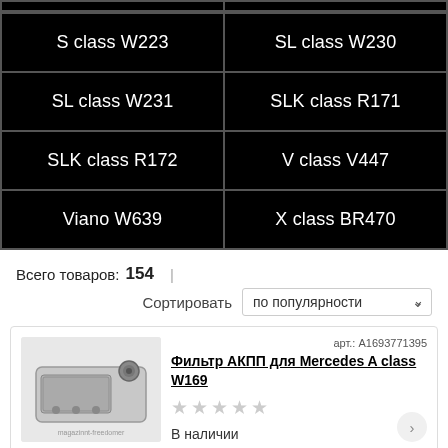| S class W223 | SL class W230 |
| SL class W231 | SLK class R171 |
| SLK class R172 | V class V447 |
| Viano W639 | X class BR470 |
Всего товаров: 154  |
Сортировать  по популярности
арт.: A1693771395
Фильтр АКПП для Mercedes A class W169
В наличии